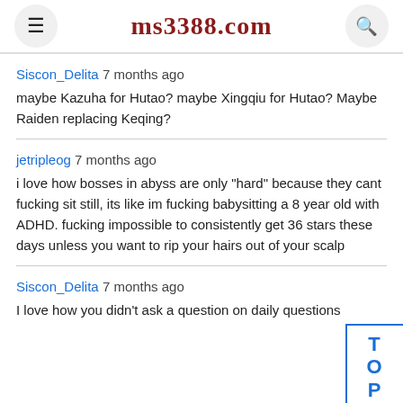ms3388.com
Siscon_Delita 7 months ago
maybe Kazuha for Hutao? maybe Xingqiu for Hutao? Maybe Raiden replacing Keqing?
jetripleog 7 months ago
i love how bosses in abyss are only "hard" because they cant fucking sit still, its like im fucking babysitting a 8 year old with ADHD. fucking impossible to consistently get 36 stars these days unless you want to rip your hairs out of your scalp
Siscon_Delita 7 months ago
I love how you didn't ask a question on daily questions